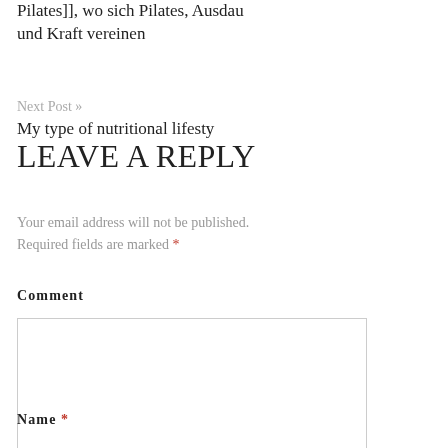Pilates]], wo sich Pilates, Ausdau und Kraft vereinen
Next Post » My type of nutritional lifesty
LEAVE A REPLY
Your email address will not be published. Required fields are marked *
Comment
Name *